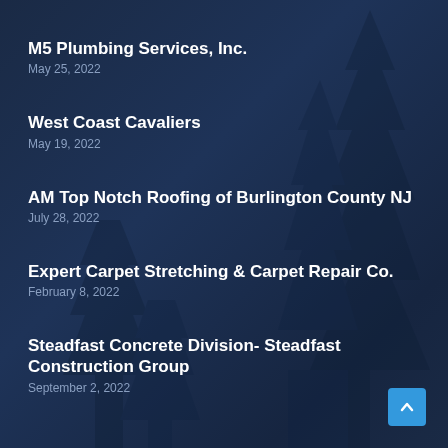M5 Plumbing Services, Inc.
May 25, 2022
West Coast Cavaliers
May 19, 2022
AM Top Notch Roofing of Burlington County NJ
July 28, 2022
Expert Carpet Stretching & Carpet Repair Co.
February 8, 2022
Steadfast Concrete Division- Steadfast Construction Group
September 2, 2022